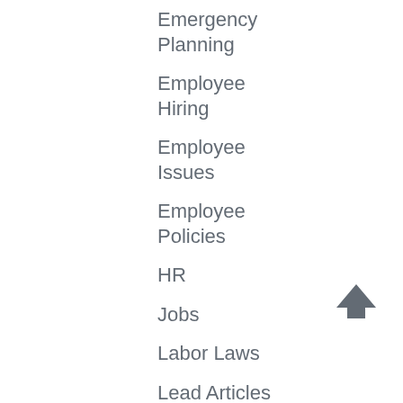Emergency Planning
Employee Hiring
Employee Issues
Employee Policies
HR
Jobs
Labor Laws
Lead Articles
Legal Issues
Management